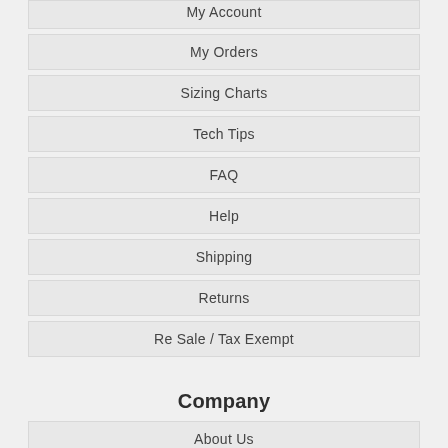My Account
My Orders
Sizing Charts
Tech Tips
FAQ
Help
Shipping
Returns
Re Sale / Tax Exempt
Company
About Us